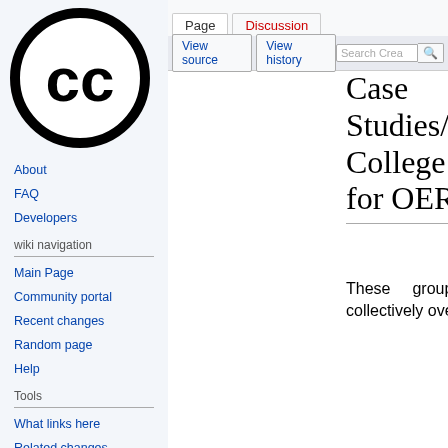[Figure (logo): Creative Commons CC logo — black circle with 'CC' letters inside]
Log in
Page  Discussion  View source  View history  Search Crea
Case Studies/Community College Consortium for OER
About
FAQ
Developers
wiki navigation
Main Page
Community portal
Recent changes
Random page
Help
Tools
What links here
Related changes
These groups contain collectively over 400
Go to URL
[[[License User]]